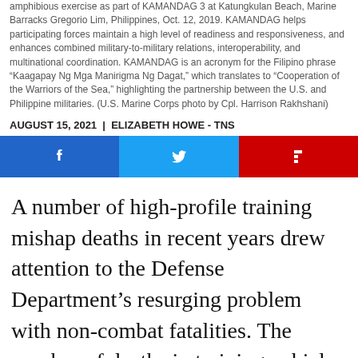amphibious exercise as part of KAMANDAG 3 at Katungkulan Beach, Marine Barracks Gregorio Lim, Philippines, Oct. 12, 2019. KAMANDAG helps participating forces maintain a high level of readiness and responsiveness, and enhances combined military-to-military relations, interoperability, and multinational coordination. KAMANDAG is an acronym for the Filipino phrase “Kaagapay Ng Mga Manirigma Ng Dagat,” which translates to “Cooperation of the Warriors of the Sea,” highlighting the partnership between the U.S. and Philippine militaries. (U.S. Marine Corps photo by Cpl. Harrison Rakhshani)
AUGUST 15, 2021  |  ELIZABETH HOWE - TNS
[Figure (other): Social media share buttons: Facebook (blue), Twitter (light blue), Flipboard (red)]
A number of high-profile training mishap deaths in recent years drew attention to the Defense Department’s resurging problem with non-combat fatalities. The number of deaths in training vehicle accidents has more than doubled over the last two reported years, after hitting a 10-year low of seven in 2017.